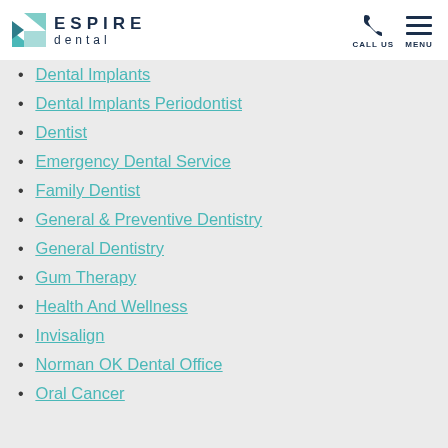ESPIRE dental — CALL US  MENU
Dental Implants
Dental Implants Periodontist
Dentist
Emergency Dental Service
Family Dentist
General & Preventive Dentistry
General Dentistry
Gum Therapy
Health And Wellness
Invisalign
Norman OK Dental Office
Oral Cancer